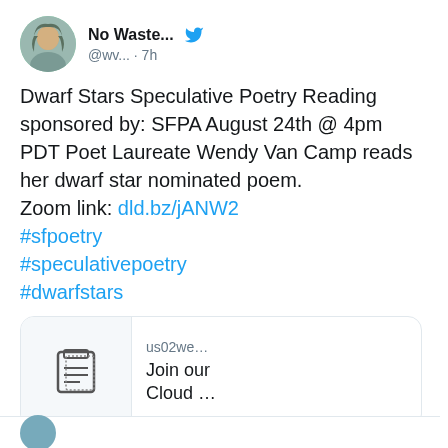[Figure (screenshot): Twitter/X post by 'No Waste...' (@wv...) posted 7 hours ago. Tweet reads: Dwarf Stars Speculative Poetry Reading sponsored by: SFPA August 24th @ 4pm PDT Poet Laureate Wendy Van Camp reads her dwarf star nominated poem. Zoom link: dld.bz/jANW2 #sfpoetry #speculativepoetry #dwarfstars. Includes a link card showing us02we... Join our Cloud ... with a document icon. Shows 1 like.]